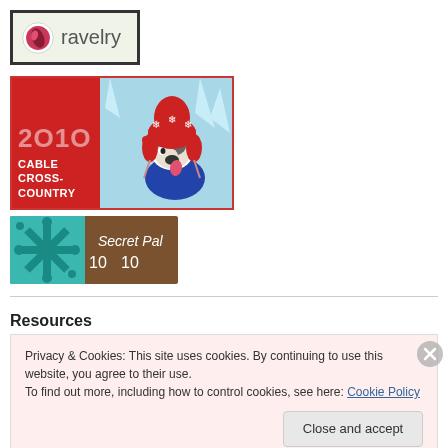[Figure (logo): Ravelry logo: pink/red yarn ball icon with text 'ravelry' on green-tinted background with dark border]
[Figure (illustration): 2010 Cable Cross-Country banner: red left panel with year '2010' and text 'CABLE CROSS-COUNTRY', right panel shows illustrated dog wearing red winter hat with snowflakes on light blue background]
[Figure (illustration): Secret Pal 10 banner: brown background with teal snowflake design and white text 'Secret Pal 10']
Resources
Privacy & Cookies: This site uses cookies. By continuing to use this website, you agree to their use.
To find out more, including how to control cookies, see here: Cookie Policy
Close and accept